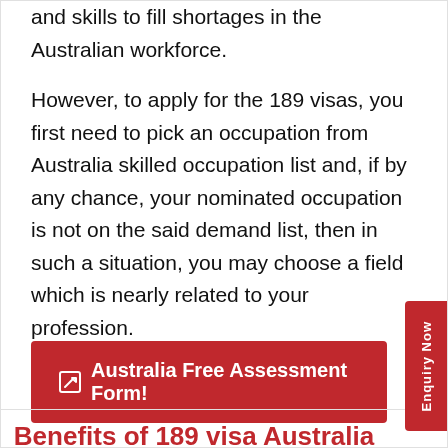and skills to fill shortages in the Australian workforce.
However, to apply for the 189 visas, you first need to pick an occupation from Australia skilled occupation list and, if by any chance, your nominated occupation is not on the said demand list, then in such a situation, you may choose a field which is nearly related to your profession.
[Figure (other): Red button labeled 'Australia Free Assessment Form!' with edit icon]
Benefits of 189 visa Australia